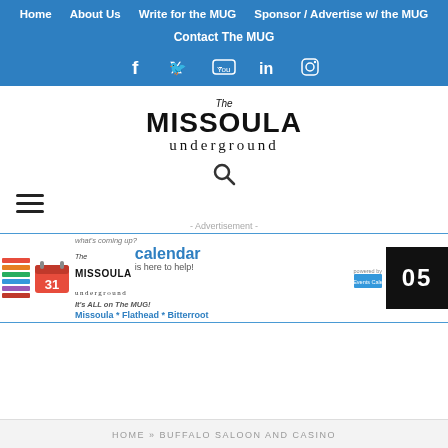Home | About Us | Write for the MUG | Sponsor / Advertise w/ the MUG | Contact The MUG
[Figure (logo): Social media icons: Facebook, Twitter, YouTube, LinkedIn, Instagram on blue background]
[Figure (logo): The Missoula Underground logo text]
[Figure (infographic): Search icon (magnifying glass)]
[Figure (infographic): Hamburger menu icon (three horizontal lines)]
- Advertisement -
[Figure (infographic): Advertisement banner: The Missoula Underground calendar is here to help! Missoula * Flathead * Bitterroot. Counter showing 05.]
HOME » BUFFALO SALOON AND CASINO